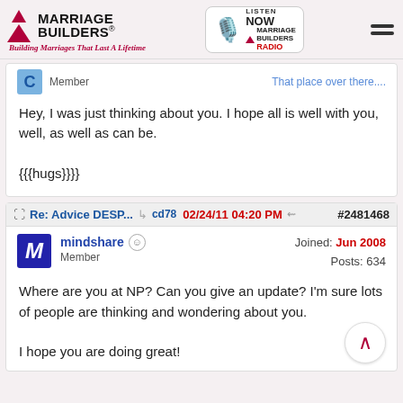Marriage Builders - Building Marriages That Last A Lifetime
Member
That place over there....
Hey, I was just thinking about you. I hope all is well with you, well, as well as can be.

{{{hugs}}}}
Re: Advice DESP... cd78 02/24/11 04:20 PM #2481468
mindshare Member Joined: Jun 2008 Posts: 634
Where are you at NP? Can you give an update? I'm sure lots of people are thinking and wondering about you.

I hope you are doing great!